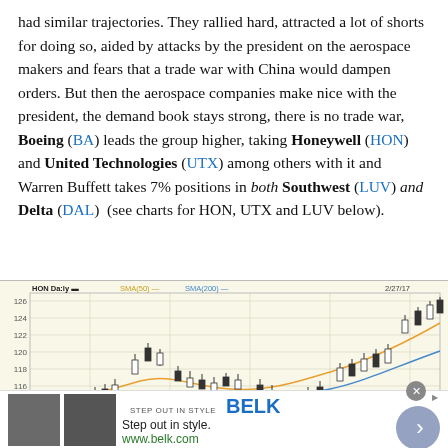had similar trajectories. They rallied hard, attracted a lot of shorts for doing so, aided by attacks by the president on the aerospace makers and fears that a trade war with China would dampen orders. But then the aerospace companies make nice with the president, the demand book stays strong, there is no trade war, Boeing (BA) leads the group higher, taking Honeywell (HON) and United Technologies (UTX) among others with it and Warren Buffett takes 7% positions in both Southwest (LUV) and Delta (DAL)  (see charts for HON, UTX and LUV below).
[Figure (continuous-plot): HON Daily candlestick chart with SMA(50) and SMA(200) overlays. Date range ending 2/27/17. Price range approximately 112-126. Shows upward trend with candlestick pattern, moving average lines in orange and blue.]
STEP OUT IN STYLE   BELK   Step out in style.   www.belk.com